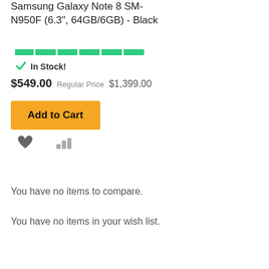Samsung Galaxy Note 8 SM-N950F (6.3", 64GB/6GB) - Black
[Figure (other): Green segmented progress/availability bar]
✓ In Stock!
$549.00 Regular Price $1,399.00
Add to Cart
[Figure (other): Heart icon (wishlist) and bar chart icon (compare)]
You have no items to compare.
You have no items in your wish list.